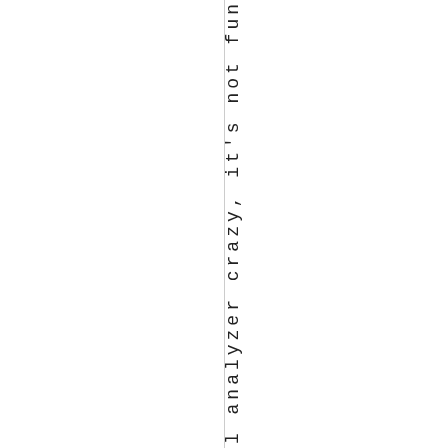-logical analyzer crazy, it's not fun